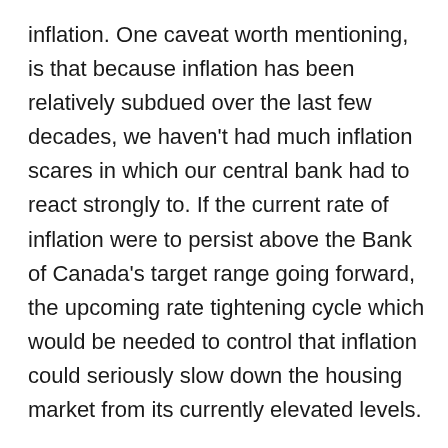inflation. One caveat worth mentioning, is that because inflation has been relatively subdued over the last few decades, we haven't had much inflation scares in which our central bank had to react strongly to. If the current rate of inflation were to persist above the Bank of Canada's target range going forward, the upcoming rate tightening cycle which would be needed to control that inflation could seriously slow down the housing market from its currently elevated levels.
There are many reasons why home prices would grow faster than inflation over time outside of those cyclical ups and downs. Canadian housing markets are influenced by a multitude of factors, including